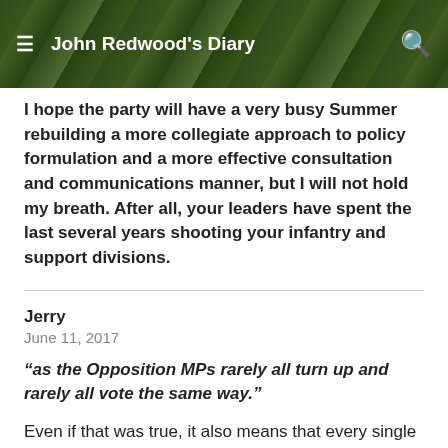John Redwood's Diary
I hope the party will have a very busy Summer rebuilding a more collegiate approach to policy formulation and a more effective consultation and communications manner, but I will not hold my breath. After all, your leaders have spent the last several years shooting your infantry and support divisions.
Jerry
June 11, 2017
“as the Opposition MPs rarely all turn up and rarely all vote the same way.”
Even if that was true, it also means that every single Tory MP is going to have to turn up for every single vote, not one illness, not one Anyday, not one trip away on constituency